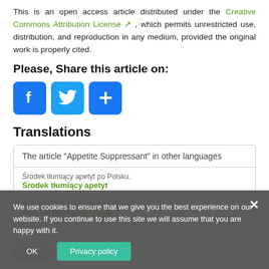This is an open access article distributed under the Creative Commons Attribution License, which permits unrestricted use, distribution, and reproduction in any medium, provided the original work is properly cited.
Please, Share this article on:
[Figure (other): Social sharing icons: Facebook, Twitter, and a plus/share button]
Translations
| The article "Appetite Suppressant" in other languages |
| --- |
| Środek tłumiący apetyt po Polsku. | Środek tłumiący apetyt |
| Was Ist Ein Appetitzügler? Deutsch | Was Ist Ein Appetitzügler? |
We use cookies to ensure that we give you the best experience on our website. If you continue to use this site we will assume that you are happy with it.
OK    Privacy policy